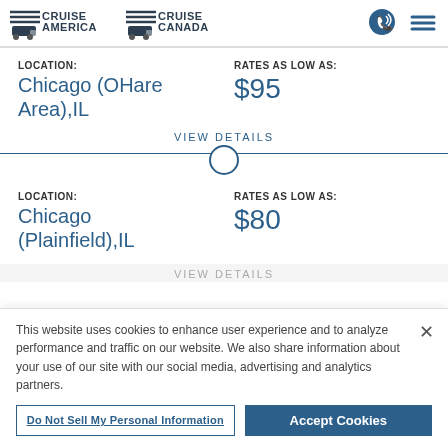[Figure (logo): Cruise America and Cruise Canada logos with navigation icons (phone, hamburger menu)]
LOCATION:
Chicago (OHare Area),IL
RATES AS LOW AS:
$95
VIEW DETAILS
LOCATION:
Chicago (Plainfield),IL
RATES AS LOW AS:
$80
VIEW DETAILS
This website uses cookies to enhance user experience and to analyze performance and traffic on our website. We also share information about your use of our site with our social media, advertising and analytics partners.
Do Not Sell My Personal Information
Accept Cookies